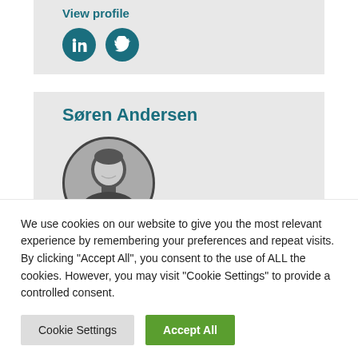View profile
[Figure (illustration): LinkedIn and Twitter social media icons as circular teal buttons]
Søren Andersen
[Figure (photo): Black and white circular portrait photo of Søren Andersen, a young man smiling]
We use cookies on our website to give you the most relevant experience by remembering your preferences and repeat visits. By clicking “Accept All”, you consent to the use of ALL the cookies. However, you may visit "Cookie Settings" to provide a controlled consent.
Cookie Settings
Accept All